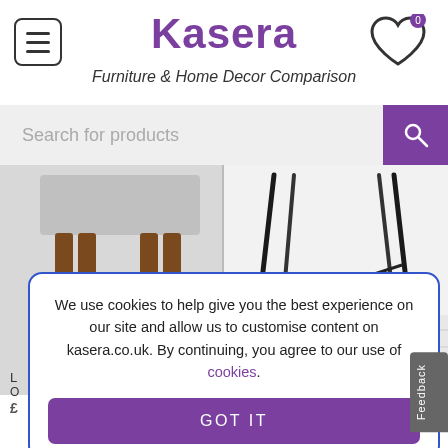Kasera — Furniture & Home Decor Comparison
[Figure (screenshot): Kasera website header with hamburger menu icon on left, 'Kasera' logo in purple in the center, and a heart/wishlist icon with '0' badge on the right. Tagline 'Furniture & Home Decor Comparison' in italic below.]
[Figure (screenshot): Search bar with placeholder text 'Search for products' on a light grey background, and a purple search button with magnifying glass icon on the right.]
[Figure (photo): Left product: Close-up of grey upholstered stool/bench legs with wooden brown tapered legs on a grey background. Right product: Close-up of black metal chair legs on a white painted wood floor.]
We use cookies to help give you the best experience on our site and allow us to customise content on kasera.co.uk. By continuing, you agree to our use of cookies.
GOT IT
Rui Carver Dining Chair,
Feedback